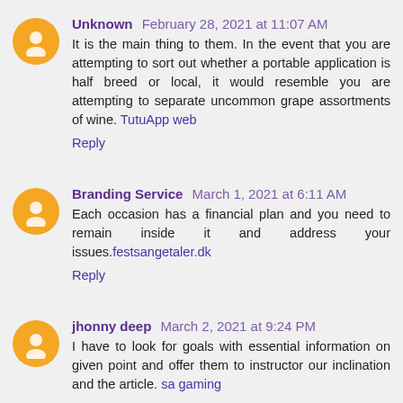Unknown February 28, 2021 at 11:07 AM
It is the main thing to them. In the event that you are attempting to sort out whether a portable application is half breed or local, it would resemble you are attempting to separate uncommon grape assortments of wine. TutuApp web
Reply
Branding Service March 1, 2021 at 6:11 AM
Each occasion has a financial plan and you need to remain inside it and address your issues.festsangetaler.dk
Reply
jhonny deep March 2, 2021 at 9:24 PM
I have to look for goals with essential information on given point and offer them to instructor our inclination and the article. sa gaming